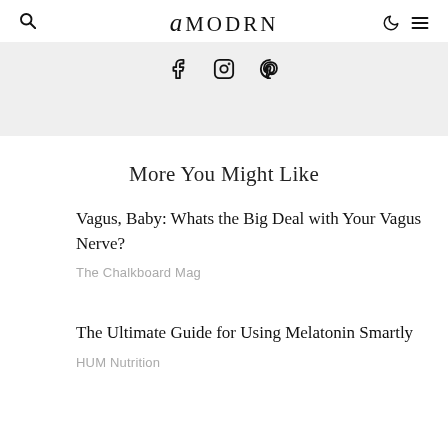amodrn
[Figure (other): Social media icons bar with Facebook, Instagram, and Pinterest icons on a light gray background]
More You Might Like
Vagus, Baby: Whats the Big Deal with Your Vagus Nerve?
The Chalkboard Mag
The Ultimate Guide for Using Melatonin Smartly
HUM Nutrition